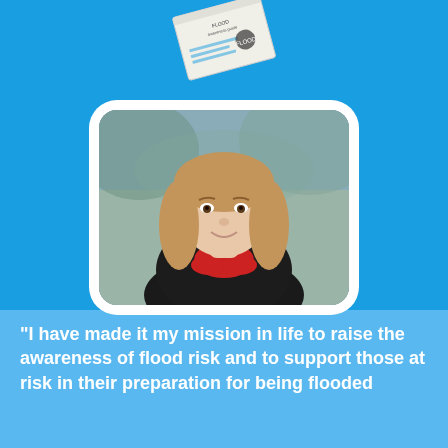[Figure (photo): A small book/pamphlet with text about floods, shown at the top of the page against a blue background, slightly tilted]
[Figure (photo): Portrait photo of a woman with shoulder-length blonde hair wearing a black jacket and red scarf, smiling, with a blurred outdoor background. Displayed in a white rounded-corner card on a blue background.]
"I have made it my mission in life to raise the awareness of flood risk and to support those at risk in their preparation for being flooded